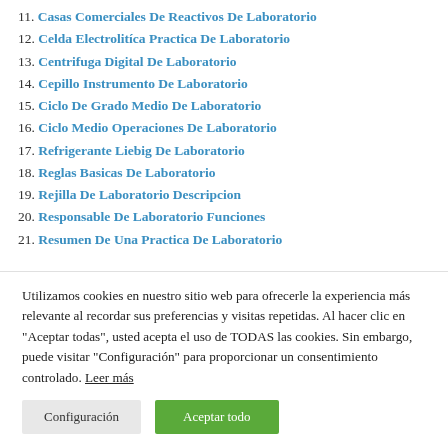11. Casas Comerciales De Reactivos De Laboratorio
12. Celda Electrolitíca Practica De Laboratorio
13. Centrifuga Digital De Laboratorio
14. Cepillo Instrumento De Laboratorio
15. Ciclo De Grado Medio De Laboratorio
16. Ciclo Medio Operaciones De Laboratorio
17. Refrigerante Liebig De Laboratorio
18. Reglas Basicas De Laboratorio
19. Rejilla De Laboratorio Descripcion
20. Responsable De Laboratorio Funciones
21. Resumen De Una Practica De Laboratorio
Utilizamos cookies en nuestro sitio web para ofrecerle la experiencia más relevante al recordar sus preferencias y visitas repetidas. Al hacer clic en "Aceptar todas", usted acepta el uso de TODAS las cookies. Sin embargo, puede visitar "Configuración" para proporcionar un consentimiento controlado. Leer más